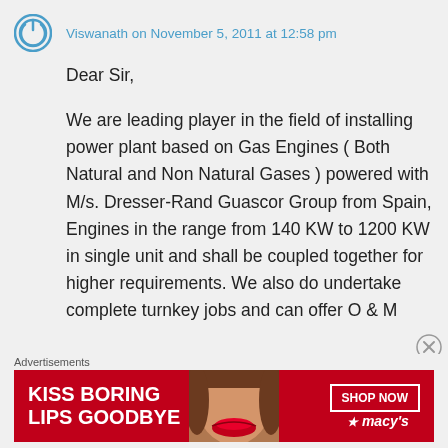Viswanath on November 5, 2011 at 12:58 pm
Dear Sir,

We are leading player in the field of installing power plant based on Gas Engines ( Both Natural and Non Natural Gases ) powered with M/s. Dresser-Rand Guascor Group from Spain, Engines in the range from 140 KW to 1200 KW in single unit and shall be coupled together for higher requirements. We also do undertake complete turnkey jobs and can offer O & M
Advertisements
[Figure (photo): Macy's advertisement banner: 'KISS BORING LIPS GOODBYE' with a woman's face and red lipstick, SHOP NOW button, and Macys star logo on red background]